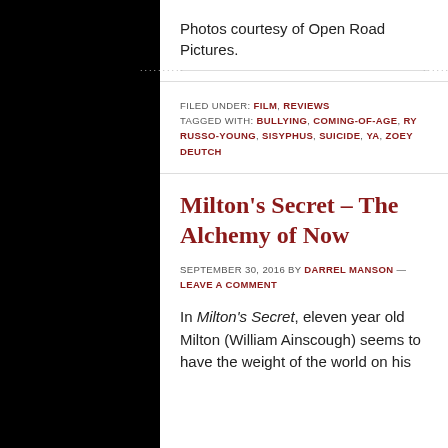Photos courtesy of Open Road Pictures.
FILED UNDER: FILM, REVIEWS
TAGGED WITH: BULLYING, COMING-OF-AGE, RY RUSSO-YOUNG, SISYPHUS, SUICIDE, YA, ZOEY DEUTCH
Milton's Secret – The Alchemy of Now
SEPTEMBER 30, 2016 BY DARREL MANSON — LEAVE A COMMENT
In Milton's Secret, eleven year old Milton (William Ainscough) seems to have the weight of the world on his